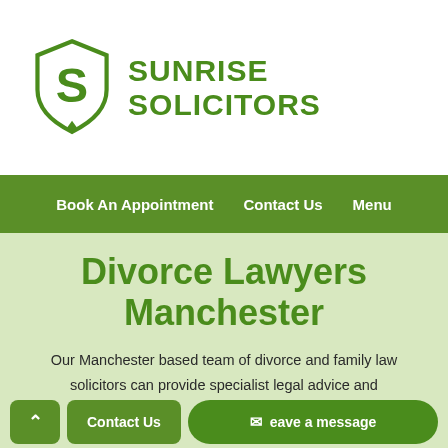[Figure (logo): Sunrise Solicitors shield logo with stylized S and firm name in green]
Book An Appointment   Contact Us   Menu
Divorce Lawyers Manchester
Our Manchester based team of divorce and family law solicitors can provide specialist legal advice and representations for your divorce and family law matters.
Contact Us   Leave a message